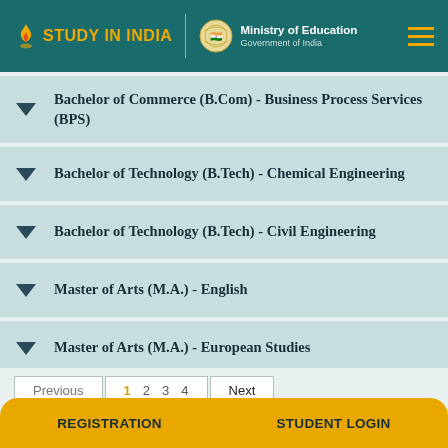STUDY IN INDIA | Ministry of Education Government of India
Bachelor of Commerce (B.Com) - Business Process Services (BPS)
Bachelor of Technology (B.Tech) - Chemical Engineering
Bachelor of Technology (B.Tech) - Civil Engineering
Master of Arts (M.A.) - English
Master of Arts (M.A.) - European Studies
Previous  1  2  3  4  Next
REGISTRATION   STUDENT LOGIN